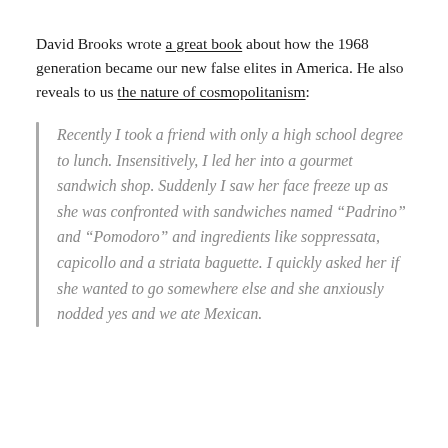David Brooks wrote a great book about how the 1968 generation became our new false elites in America. He also reveals to us the nature of cosmopolitanism:
Recently I took a friend with only a high school degree to lunch. Insensitively, I led her into a gourmet sandwich shop. Suddenly I saw her face freeze up as she was confronted with sandwiches named “Padrino” and “Pomodoro” and ingredients like soppressata, capicollo and a striata baguette. I quickly asked her if she wanted to go somewhere else and she anxiously nodded yes and we ate Mexican.